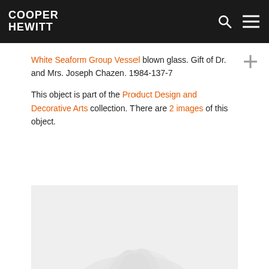COOPER HEWITT
White Seaform Group Vessel blown glass. Gift of Dr. and Mrs. Joseph Chazen. 1984-137-7
This object is part of the Product Design and Decorative Arts collection. There are 2 images of this object.
[Figure (photo): Bottom portion of a white blown glass seaform vessel, partially visible at the bottom of the page on a light gray/white background.]